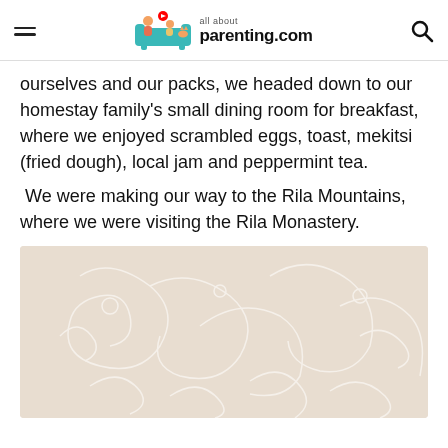all about parenting.com
ourselves and our packs, we headed down to our homestay family's small dining room for breakfast, where we enjoyed scrambled eggs, toast, mekitsi (fried dough), local jam and peppermint tea.
We were making our way to the Rila Mountains, where we were visiting the Rila Monastery.
[Figure (illustration): Faded decorative illustration with ornate white line art patterns on a light beige/tan background, appearing to show artistic or religious motifs]